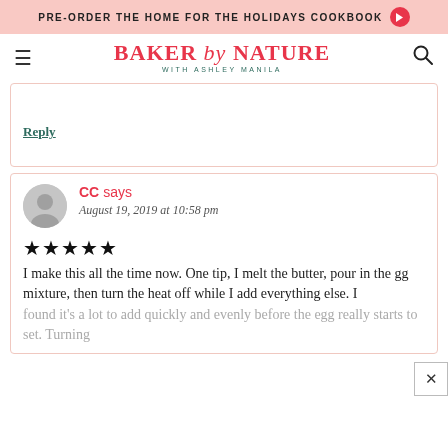PRE-ORDER THE HOME FOR THE HOLIDAYS COOKBOOK →
[Figure (logo): Baker by Nature with Ashley Manila logo, pink and red serif font with script 'by']
Reply
CC says
August 19, 2019 at 10:58 pm
★★★★★
I make this all the time now. One tip, I melt the butter, pour in the gg mixture, then turn the heat off while I add everything else. I found it's a lot to add quickly and evenly before the egg really starts to set. Turning